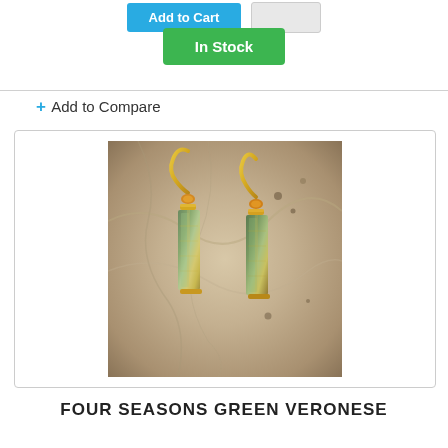[Figure (other): Blue button and grey button (Add to Cart / wishlist style buttons)]
In Stock
+ Add to Compare
[Figure (photo): Product photo of green Veronese glass earrings with gold-tone hooks and amber accents, displayed on a marbled beige background.]
FOUR SEASONS GREEN VERONESE